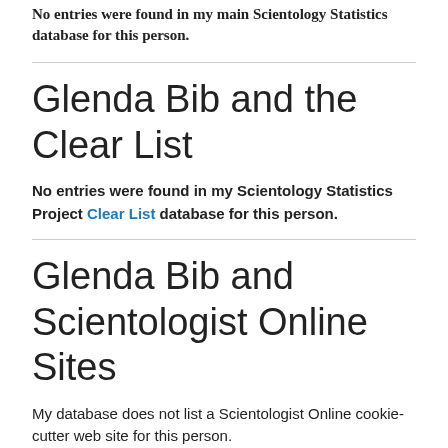No entries were found in my main Scientology Statistics database for this person.
Glenda Bib and the Clear List
No entries were found in my Scientology Statistics Project Clear List database for this person.
Glenda Bib and Scientologist Online Sites
My database does not list a Scientologist Online cookie-cutter web site for this person.
Glenda Bib and WISE Directories
WISE, the World Institute of Scientology Enterprises, publishes